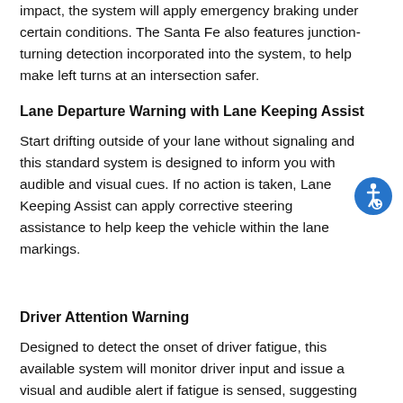impact, the system will apply emergency braking under certain conditions. The Santa Fe also features junction-turning detection incorporated into the system, to help make left turns at an intersection safer.
Lane Departure Warning with Lane Keeping Assist
Start drifting outside of your lane without signaling and this standard system is designed to inform you with audible and visual cues. If no action is taken, Lane Keeping Assist can apply corrective steering assistance to help keep the vehicle within the lane markings.
[Figure (illustration): Blue circle accessibility/wheelchair icon]
Driver Attention Warning
Designed to detect the onset of driver fatigue, this available system will monitor driver input and issue a visual and audible alert if fatigue is sensed, suggesting